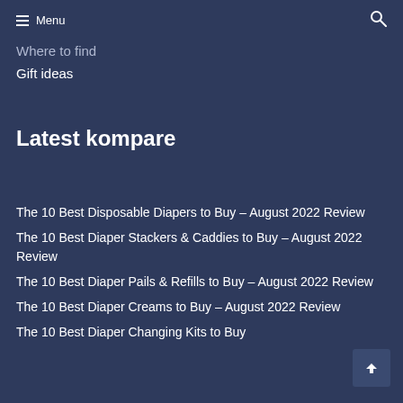Menu
Where to find
Gift ideas
Latest kompare
The 10 Best Disposable Diapers to Buy – August 2022 Review
The 10 Best Diaper Stackers & Caddies to Buy – August 2022 Review
The 10 Best Diaper Pails & Refills to Buy – August 2022 Review
The 10 Best Diaper Creams to Buy – August 2022 Review
The 10 Best Diaper Changing Kits to Buy